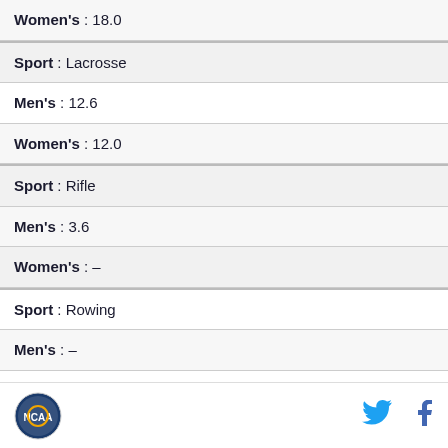| Women's : 18.0 |
| Sport : Lacrosse |
| Men's : 12.6 |
| Women's : 12.0 |
| Sport : Rifle |
| Men's : 3.6 |
| Women's : – |
| Sport : Rowing |
| Men's : – |
| Women's : 20.0 |
| Sport : Rugby |
Logo | Twitter | Facebook